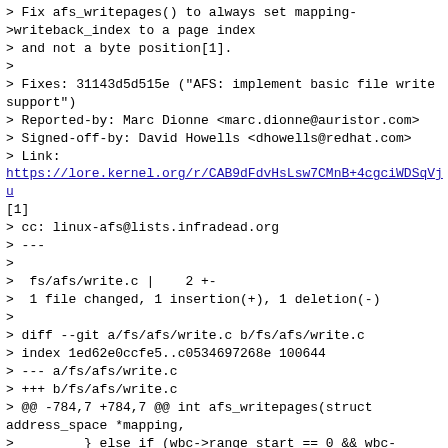> Fix afs_writepages() to always set mapping->writeback_index to a page index
> and not a byte position[1].
>
> Fixes: 31143d5d515e ("AFS: implement basic file write support")
> Reported-by: Marc Dionne <marc.dionne@auristor.com>
> Signed-off-by: David Howells <dhowells@redhat.com>
> Link:
> https://lore.kernel.org/r/CAB9dFdvHsLsw7CMnB+4cgciWDSqVju
[1]
> cc: linux-afs@lists.infradead.org
> ---
>
>  fs/afs/write.c |    2 +-
>  1 file changed, 1 insertion(+), 1 deletion(-)
>
> diff --git a/fs/afs/write.c b/fs/afs/write.c
> index 1ed62e0ccfe5..c0534697268e 100644
> --- a/fs/afs/write.c
> +++ b/fs/afs/write.c
> @@ -784,7 +784,7 @@ int afs_writepages(struct address_space *mapping,
>         } else if (wbc->range_start == 0 && wbc->range_end == LLONG_MAX) {
>                 ret = afs_writepages_region(mapping, wbc, 0, LLONG_MAX, &next);
>                 if (wbc->nr_to_write > 0 && ret == 0)
> -                       mapping->writeback_index = next;